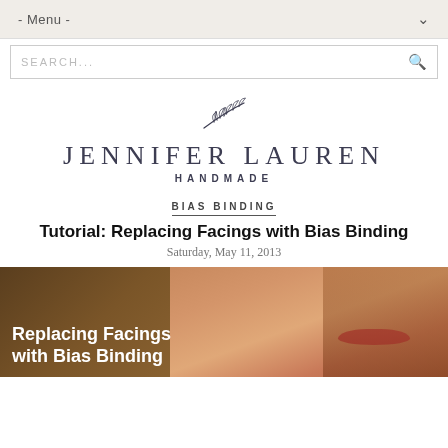- Menu -
SEARCH...
[Figure (logo): Jennifer Lauren Handmade logo with decorative leaf/branch illustration above the text]
BIAS BINDING
Tutorial: Replacing Facings with Bias Binding
Saturday, May 11, 2013
[Figure (photo): Close-up photo of a woman's face smiling with red lips. Text overlay reads: Replacing Facings with Bias Binding]